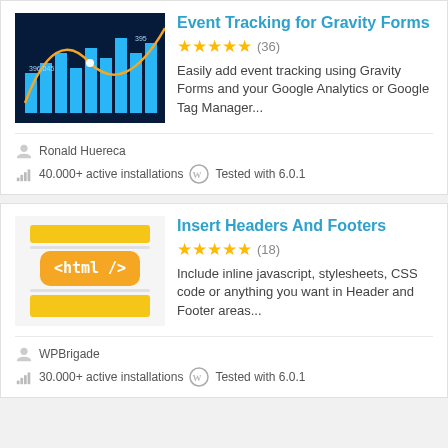[Figure (illustration): Analytics bar chart with orange curve on dark blue background - plugin icon for Event Tracking for Gravity Forms]
Event Tracking for Gravity Forms
★★★★★ (36)
Easily add event tracking using Gravity Forms and your Google Analytics or Google Tag Manager...
Ronald Huereca
40.000+ active installations   Tested with 6.0.1
[Figure (illustration): Yellow stripes and orange badge with <html/> text - plugin icon for Insert Headers And Footers]
Insert Headers And Footers
★★★★★ (18)
Include inline javascript, stylesheets, CSS code or anything you want in Header and Footer areas...
WPBrigade
30.000+ active installations   Tested with 6.0.1